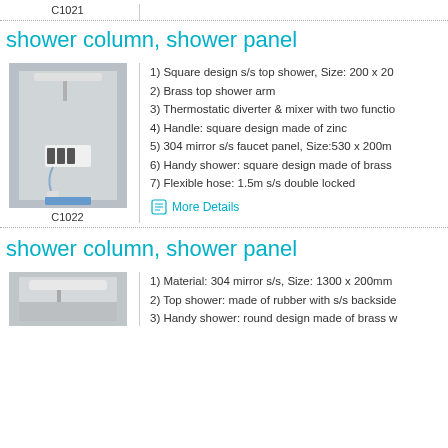C1021
shower column, shower panel
[Figure (photo): Shower column with top shower head and handheld shower, mounted on wall]
C1022
1) Square design s/s top shower, Size: 200 x 20...
2) Brass top shower arm
3) Thermostatic diverter & mixer with two functio...
4) Handle: square design made of zinc
5) 304 mirror s/s faucet panel, Size:530 x 200m...
6) Handy shower: square design made of brass
7) Flexible hose: 1.5m s/s double locked
More Details
shower column, shower panel
[Figure (photo): Shower column product photo]
1) Material: 304 mirror s/s, Size: 1300 x 200mm...
2) Top shower: made of rubber with s/s backside...
3) Handy shower: round design made of brass ...